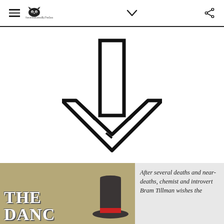NeverHollowedByTheSea [hamburger menu, logo, chevron, share icon]
[Figure (illustration): A large downward-pointing arrow outline (thick black stroke, white fill) centered on a white background, indicating scroll down or next content below.]
[Figure (illustration): Book cover image for 'The [something]' featuring tan/khaki background, white serif title text, and a figure wearing a top hat with red band.]
After several deaths and near-deaths, chemist and introvert Bram Tillman wishes the